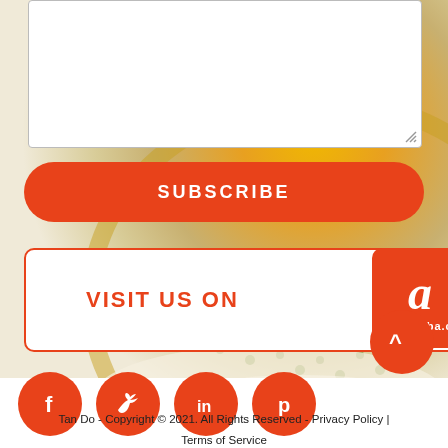[Figure (photo): Background food photo showing a close-up of a passion fruit or similar tropical fruit with yellow seeds and pulp, blurred bokeh effect]
SUBSCRIBE
VISIT US ON
[Figure (logo): Alibaba.com logo on orange/red rounded rectangle badge]
[Figure (illustration): Social media icons: Facebook (f), Twitter (bird), LinkedIn (in), Pinterest (p) — all white icons on red circular buttons]
[Figure (illustration): Scroll-to-top button: red circle with white upward chevron (^)]
Tan Do - Copyright © 2021. All Rights Reserved - Privacy Policy | Terms of Service